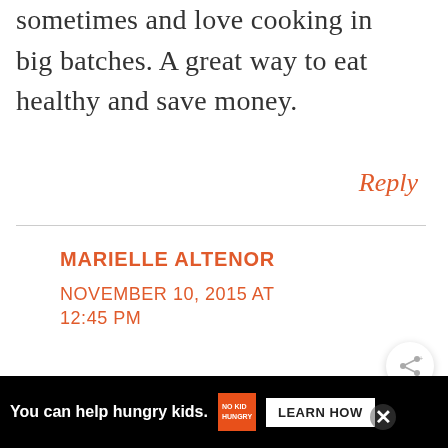sometimes and love cooking in big batches. A great way to eat healthy and save money.
Reply
MARIELLE ALTENOR
NOVEMBER 10, 2015 AT 12:45 PM
I'm a huge meat lover but I love
[Figure (other): Share button icon (circular button with share/network icon)]
[Figure (other): Advertisement bar at bottom: 'You can help hungry kids.' with No Kid Hungry logo and LEARN HOW button]